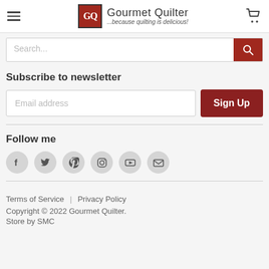[Figure (logo): Gourmet Quilter logo with GQ monogram in red box, text 'Gourmet Quilter ...because quilting is delicious!']
[Figure (screenshot): Search bar with placeholder 'Search...' and red search button]
Subscribe to newsletter
[Figure (screenshot): Email address input field with 'Sign Up' button]
Follow me
[Figure (infographic): Social media icons: Facebook, Twitter, Pinterest, Instagram, YouTube, Email]
Terms of Service | Privacy Policy
Copyright © 2022 Gourmet Quilter.
Store by SMC